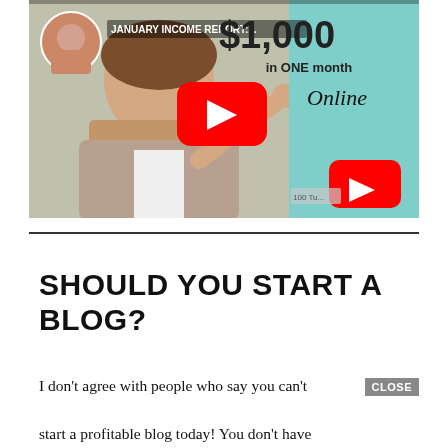[Figure (screenshot): YouTube video thumbnail showing a woman pointing upward, with text 'JANUARY INCOME REPORT:... $1,000 in ONE month Online', a YouTube play button overlay, and a YouTube logo icon in the bottom right against a teal background.]
SHOULD YOU START A BLOG?
I don't agree with people who say you can't start a profitable blog today! You don't have